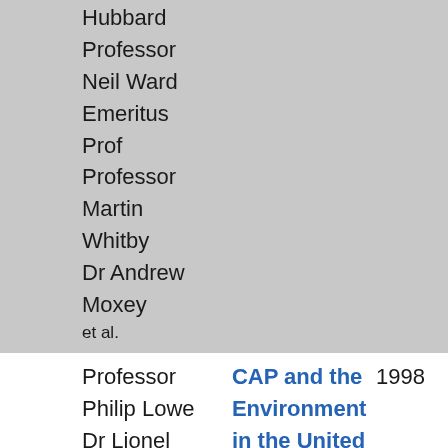Hubbard
Professor
Neil Ward
Emeritus
Prof
Professor
Martin
Whitby
Dr Andrew
Moxey
et al.
Professor
Philip Lowe
Dr Lionel
Hubbard
Professor
Neil Ward
Emeritus
Prof
Professor
Martin
CAP and the Environment in the United Kingdom
1998